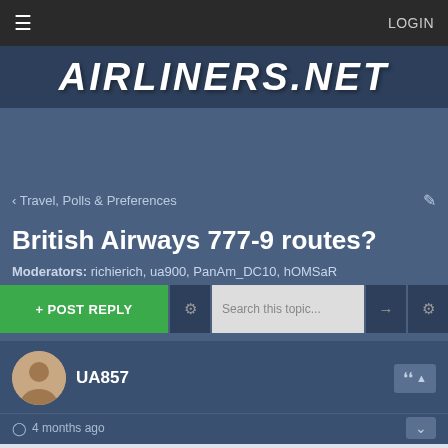≡  LOGIN
[Figure (logo): AIRLINERS.NET logo in italic bold white text on dark blue background]
< Travel, Polls & Preferences
British Airways 777-9 routes?
Moderators: richierich, ua900, PanAm_DC10, hOMSaR
+ POST REPLY   [gear icon]   Search this topic...   [arrow]   [gear icon]
UA857
4 months ago
BA's 17 Super High-J 744 had 275 seats, there 16 77Ws currently have